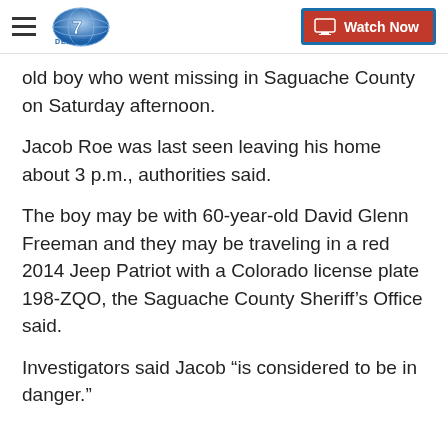Denver7 — Watch Now
old boy who went missing in Saguache County on Saturday afternoon.
Jacob Roe was last seen leaving his home about 3 p.m., authorities said.
The boy may be with 60-year-old David Glenn Freeman and they may be traveling in a red 2014 Jeep Patriot with a Colorado license plate 198-ZQO, the Saguache County Sheriff's Office said.
Investigators said Jacob “is considered to be in danger."